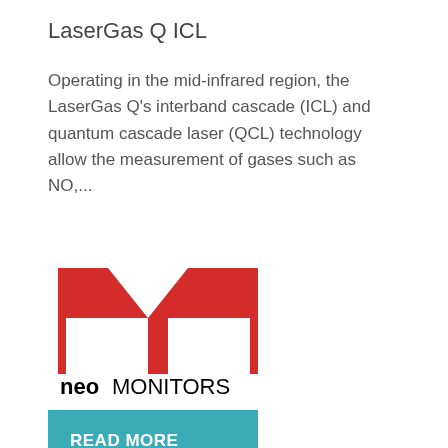LaserGas Q ICL
Operating in the mid-infrared region, the LaserGas Q's interband cascade (ICL) and quantum cascade laser (QCL) technology allow the measurement of gases such as NO,...
[Figure (logo): Neo Monitors logo: red stylized M shape above text 'neo' in bold black lowercase and 'MONITORS' in regular black uppercase]
READ MORE